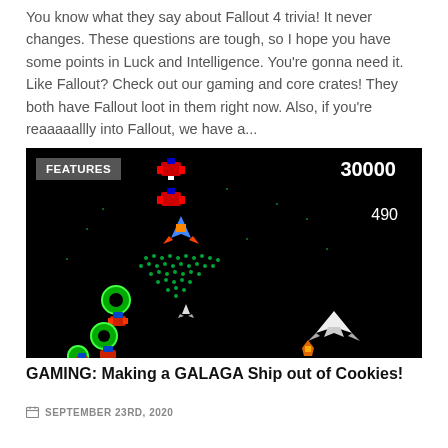You know what they say about Fallout 4 trivia! It never changes. These questions are tough, so I hope you have some points in Luck and Intelligence. You're gonna need it. Like Fallout? Check out our gaming and core crates! They both have Fallout loot in them right now. Also, if you're reaaaaallly into Fallout, we have a...
[Figure (screenshot): Screenshot of the classic arcade game Galaga showing enemies, a player ship, and scores 30000 and 490 on a black background. A 'FEATURES' badge is overlaid on the top-left.]
GAMING: Making a GALAGA Ship out of Cookies!
SEPTEMBER 23RD, 2020